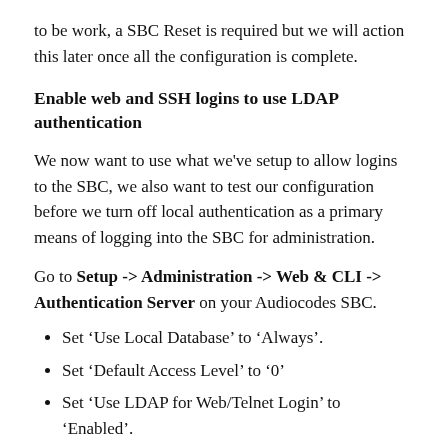to be work, a SBC Reset is required but we will action this later once all the configuration is complete.
Enable web and SSH logins to use LDAP authentication
We now want to use what we've setup to allow logins to the SBC, we also want to test our configuration before we turn off local authentication as a primary means of logging into the SBC for administration.
Go to Setup -> Administration -> Web & CLI -> Authentication Server on your Audiocodes SBC.
Set 'Use Local Database' to 'Always'.
Set 'Default Access Level' to '0'
Set 'Use LDAP for Web/Telnet Login' to 'Enabled'.